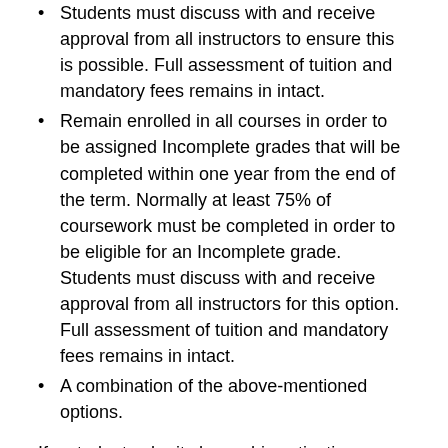Students must discuss with and receive approval from all instructors to ensure this is possible. Full assessment of tuition and mandatory fees remains in intact.
Remain enrolled in all courses in order to be assigned Incomplete grades that will be completed within one year from the end of the term. Normally at least 75% of coursework must be completed in order to be eligible for an Incomplete grade. Students must discuss with and receive approval from all instructors for this option. Full assessment of tuition and mandatory fees remains in intact.
A combination of the above-mentioned options.
If a student submits her or his activation orders or letter from the commander outlining the required military duty, but does not make clear which of the above options he or she is selecting, the Executive